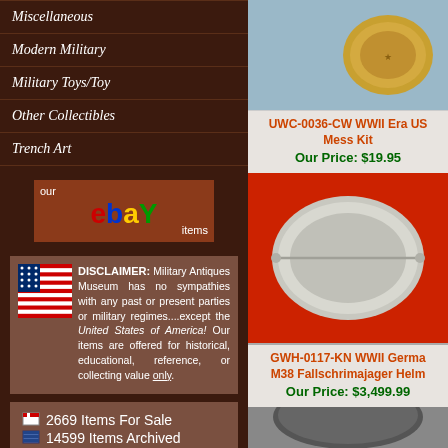Miscellaneous
Modern Military
Military Toys/Toy
Other Collectibles
Trench Art
[Figure (logo): eBay logo with 'our' and 'items' text on brown background]
DISCLAIMER: Military Antiques Museum has no sympathies with any past or present parties or military regimes....except the United States of America! Our items are offered for historical, educational, reference, or collecting value only.
2669 Items For Sale
14599 Items Archived
[Figure (photo): Gold military button or badge on light blue fabric background]
UWC-0036-CW WWII Era US Mess Kit
Our Price: $19.95
[Figure (photo): WWII Era US Mess Kit - silver/aluminum oval mess kit on red fabric]
GWH-0117-KN WWII German M38 Fallschrimajager Helmet
Our Price: $3,499.99
[Figure (photo): WWII German M38 Fallschrimajager Helmet - dark military helmet]